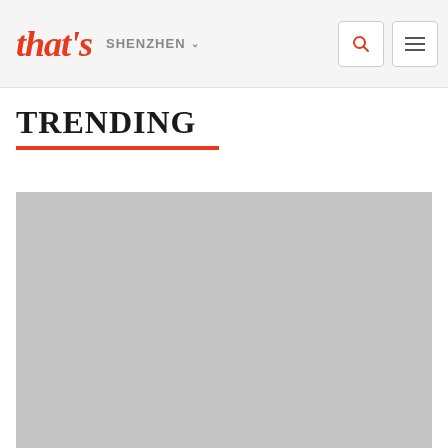that's SHENZHEN
TRENDING
[Figure (photo): Large gray placeholder image below the TRENDING heading]